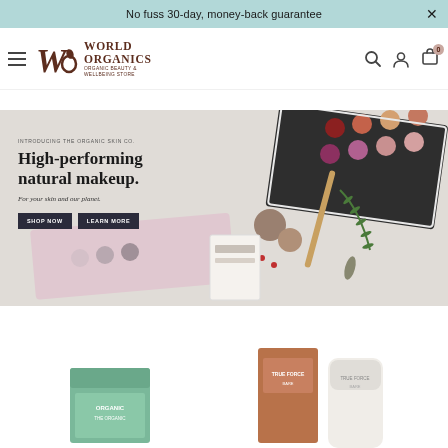No fuss 30-day, money-back guarantee
[Figure (logo): World Organics logo with WO monogram and text: WORLD ORGANICS, Organic Beauty & Wellbeing Store]
[Figure (photo): Hero banner showing organic makeup products including eyeshadow palettes, loose pigments, a bamboo brush, and rosemary sprigs on a light background. Text overlay: INTRODUCING THE ORGANIC SKIN CO. / High-performing natural makeup. / For your skin and our planet. / SHOP NOW / LEARN MORE]
[Figure (photo): Product images at bottom: green packaged organic skincare on the left, and terra-cotta/white packaged True Force skincare products on the right]